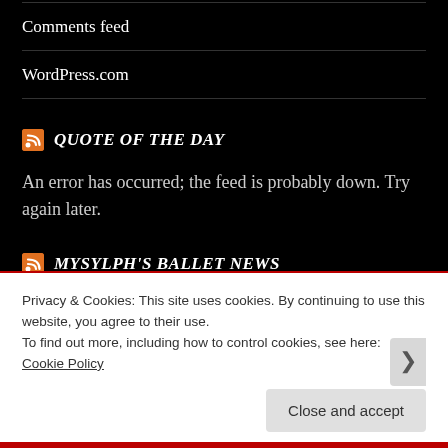Comments feed
WordPress.com
QUOTE OF THE DAY
An error has occurred; the feed is probably down. Try again later.
MYSYLPH'S BALLET NEWS
Privacy & Cookies: This site uses cookies. By continuing to use this website, you agree to their use.
To find out more, including how to control cookies, see here: Cookie Policy
Close and accept